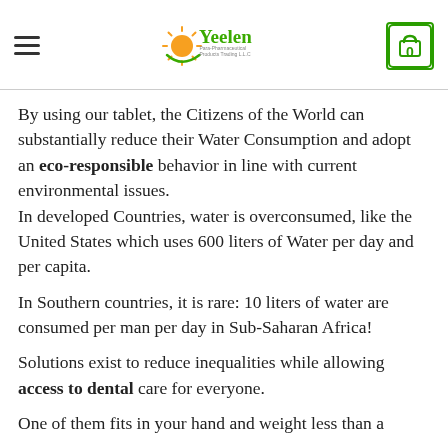Yeelen Para-Pharmaceutical Products Trading LLC
By using our tablet, the Citizens of the World can substantially reduce their Water Consumption and adopt an eco-responsible behavior in line with current environmental issues.
In developed Countries, water is overconsumed, like the United States which uses 600 liters of Water per day and per capita.
In Southern countries, it is rare: 10 liters of water are consumed per man per day in Sub-Saharan Africa!
Solutions exist to reduce inequalities while allowing access to dental care for everyone.
One of them fits in your hand and weight less than a